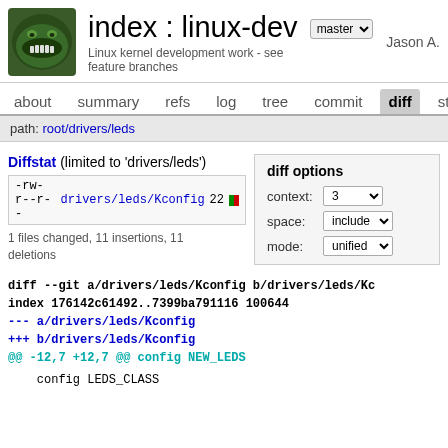index : linux-dev
Linux kernel development work - see feature branches
Jason A.
about  summary  refs  log  tree  commit  diff  stat
path: root/drivers/leds
Diffstat (limited to 'drivers/leds')
-rw-r--r-- drivers/leds/Kconfig 22
1 files changed, 11 insertions, 11 deletions
diff options
context: 3
space: include
mode: unified
diff --git a/drivers/leds/Kconfig b/drivers/leds/Kc
index 176142c61492..7399ba791116 100644
--- a/drivers/leds/Kconfig
+++ b/drivers/leds/Kconfig
@@ -12,7 +12,7 @@ config NEW_LEDS

	config LEDS_CLASS